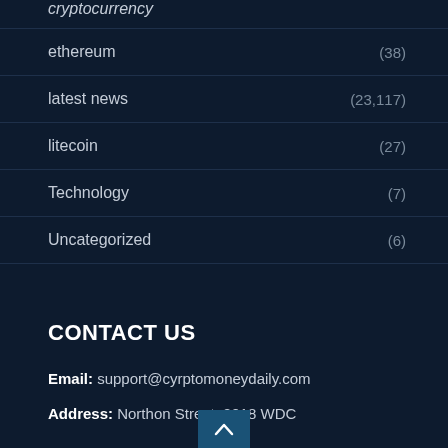cryptocurrency
ethereum (38)
latest news (23,117)
litecoin (27)
Technology (7)
Uncategorized (6)
CONTACT US
Email: support@cyrptomoneydaily.com
Address: Northon Street, 2018 WDC